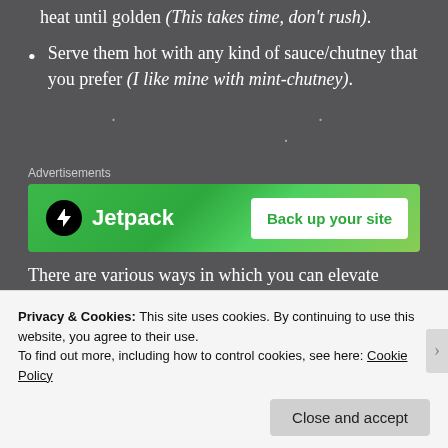heat until golden (This takes time, don't rush).
Serve them hot with any kind of sauce/chutney that you prefer (I like mine with mint-chutney).
· · ·
[Figure (other): Jetpack advertisement banner with green background, Jetpack logo and 'Back up your site' button]
There are various ways in which you can elevate
Privacy & Cookies: This site uses cookies. By continuing to use this website, you agree to their use. To find out more, including how to control cookies, see here: Cookie Policy
Close and accept